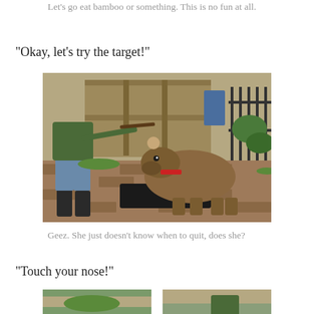Let's go eat bamboo or something. This is no fun at all.
“Okay, let’s try the target!”
[Figure (photo): A capybara wearing a red collar standing on a black scale/mat outdoors on a brick patio. A person in green jacket and rubber boots holds a stick/target toward the capybara. There is a wooden fence gate and iron fence in the background.]
Geez. She just doesn’t know when to quit, does she?
“Touch your nose!”
[Figure (photo): Partial view of another photo showing a capybara and person outdoors, cropped at bottom of page.]